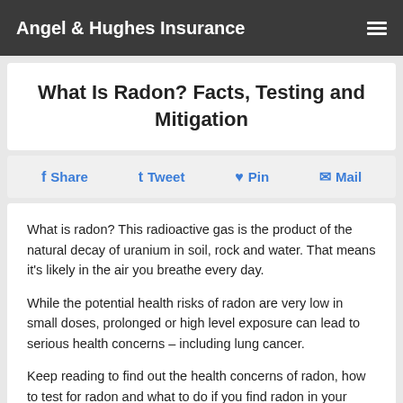Angel & Hughes Insurance
What Is Radon? Facts, Testing and Mitigation
Share  Tweet  Pin  Mail
What is radon? This radioactive gas is the product of the natural decay of uranium in soil, rock and water. That means it's likely in the air you breathe every day.
While the potential health risks of radon are very low in small doses, prolonged or high level exposure can lead to serious health concerns – including lung cancer.
Keep reading to find out the health concerns of radon, how to test for radon and what to do if you find radon in your home.